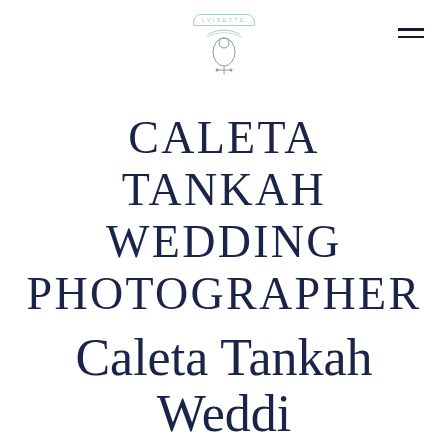[Figure (logo): Lvisette brand logo with decorative banner and illustration of a figure/camera]
CALETA TANKAH WEDDING PHOTOGRAPHER
Caleta Tankah Weddi